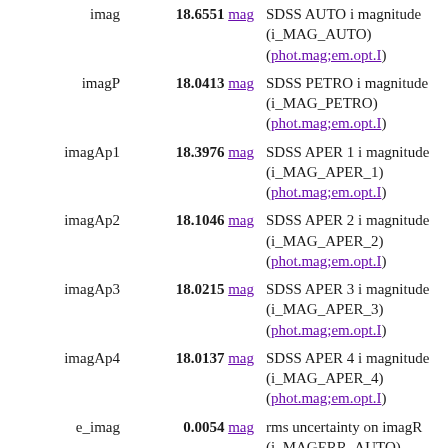| Name | Value | Description |
| --- | --- | --- |
| imag | 18.6551 mag | SDSS AUTO i magnitude (i_MAG_AUTO) (phot.mag;em.opt.I) |
| imagP | 18.0413 mag | SDSS PETRO i magnitude (i_MAG_PETRO) (phot.mag;em.opt.I) |
| imagAp1 | 18.3976 mag | SDSS APER 1 i magnitude (i_MAG_APER_1) (phot.mag;em.opt.I) |
| imagAp2 | 18.1046 mag | SDSS APER 2 i magnitude (i_MAG_APER_2) (phot.mag;em.opt.I) |
| imagAp3 | 18.0215 mag | SDSS APER 3 i magnitude (i_MAG_APER_3) (phot.mag;em.opt.I) |
| imagAp4 | 18.0137 mag | SDSS APER 4 i magnitude (i_MAG_APER_4) (phot.mag;em.opt.I) |
| e_imag | 0.0054 mag | rms uncertainty on imagR (i_MAGERR_AUTO) (stat.error;phot.mag;em.opt.I) |
| e_imagP | 0.0054 mag | rms uncertainty on imagP (i_MAGERR_PETRO) (stat.error;phot.mag) |